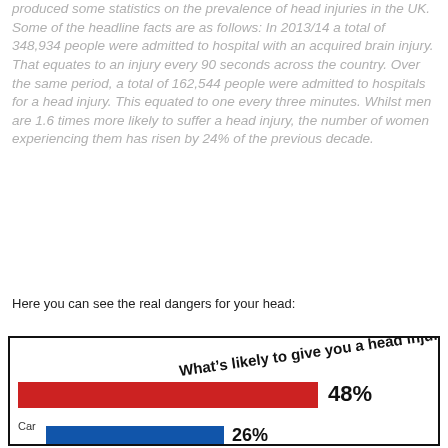produced some statistics on the prevalence of head injuries in the UK. Some of the headline facts are as follows: In 2013/14 a total of 348,934 people were admitted to hospital with an acquired brain injury. That equates to an injury every 90 seconds across the country. Over the same period, a total of 162,544 people were admitted to hospitals for a head injury. This equated to one every three minutes. Whilst men are 1.6 times more likely to suffer a head injury, the number of women experiencing them has risen by 24% of the previous decade.
Here you can see the real dangers for your head:
[Figure (bar-chart): What's likely to give you a head injury?]